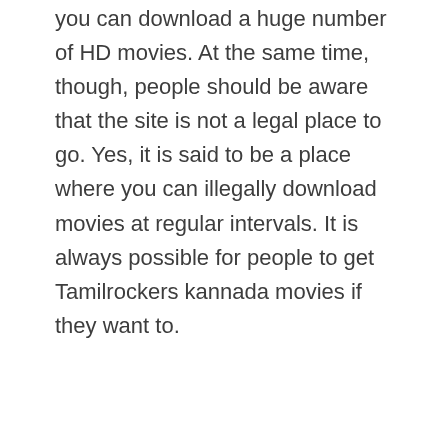you can download a huge number of HD movies. At the same time, though, people should be aware that the site is not a legal place to go. Yes, it is said to be a place where you can illegally download movies at regular intervals. It is always possible for people to get Tamilrockers kannada movies if they want to.